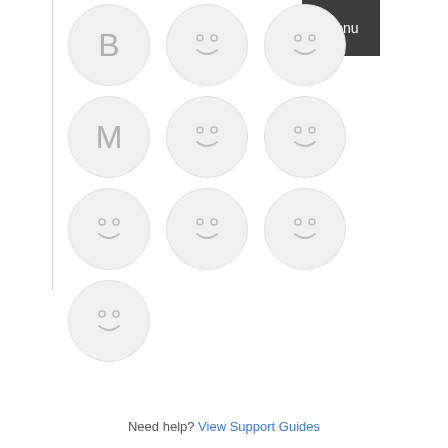[Figure (screenshot): Grid of user avatar icons: row 1 has letter B avatar and two smiley face avatars; row 2 has letter M avatar and two smiley face avatars; row 3 has three smiley face avatars; row 4 has one smiley face avatar. Top right corner has a dark Menu button.]
Need help? View Support Guides